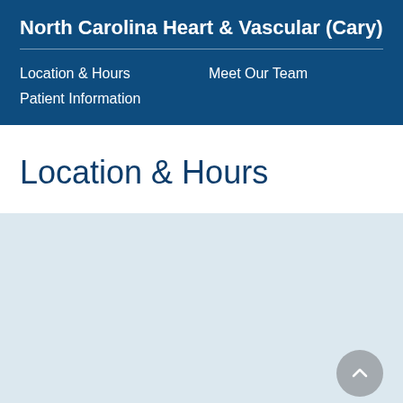North Carolina Heart & Vascular (Cary)
Location & Hours    Meet Our Team    Patient Information
Location & Hours
[Figure (other): Light blue map/content placeholder area with a gray scroll-to-top button in the lower right corner]